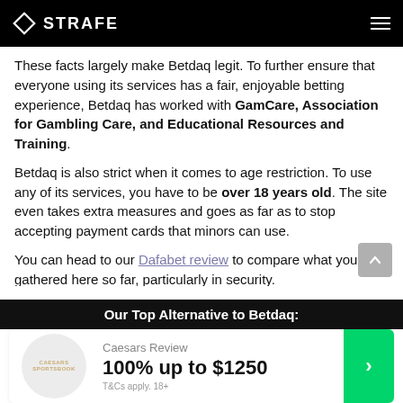STRAFE
These facts largely make Betdaq legit. To further ensure that everyone using its services has a fair, enjoyable betting experience, Betdaq has worked with GamCare, Association for Gambling Care, and Educational Resources and Training.
Betdaq is also strict when it comes to age restriction. To use any of its services, you have to be over 18 years old. The site even takes extra measures and goes as far as to stop accepting payment cards that minors can use.
You can head to our Dafabet review to compare what you’ve gathered here so far, particularly in security.
Our Top Alternative to Betdaq:
| Logo | Review | Bonus | CTA |
| --- | --- | --- | --- |
| Caesars Sportsbook | Caesars Review | 100% up to $1250 | > |